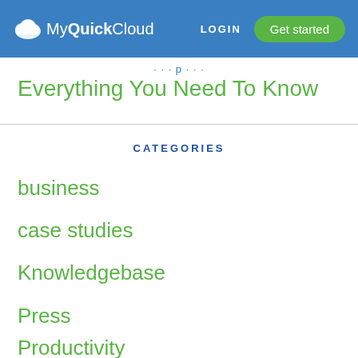MyQuickCloud LOGIN Get started
Everything You Need To Know
CATEGORIES
business
case studies
Knowledgebase
Press
Productivity (partial)